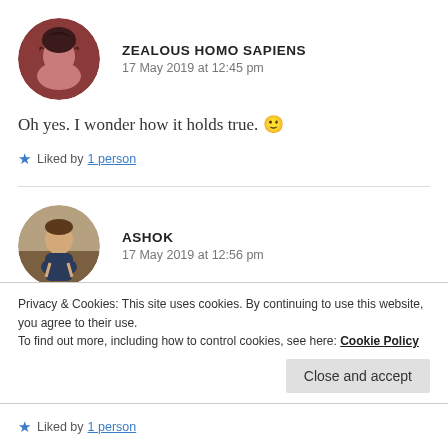[Figure (photo): Circular avatar of a person with dark hair (Zealous Homo Sapiens user)]
ZEALOUS HOMO SAPIENS
17 May 2019 at 12:45 pm
Oh yes. I wonder how it holds true. 🙂
★ Liked by 1 person
[Figure (photo): Circular avatar of a person sitting outdoors (Ashok user)]
ASHOK
17 May 2019 at 12:56 pm
Privacy & Cookies: This site uses cookies. By continuing to use this website, you agree to their use.
To find out more, including how to control cookies, see here: Cookie Policy
Close and accept
★ Liked by 1 person